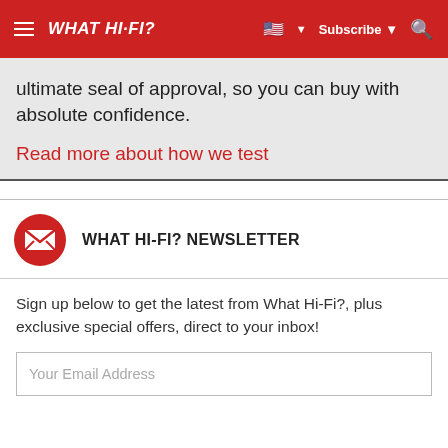WHAT HI-FI? | Subscribe | Search
ultimate seal of approval, so you can buy with absolute confidence.
Read more about how we test
WHAT HI-FI? NEWSLETTER
Sign up below to get the latest from What Hi-Fi?, plus exclusive special offers, direct to your inbox!
Your Email Address